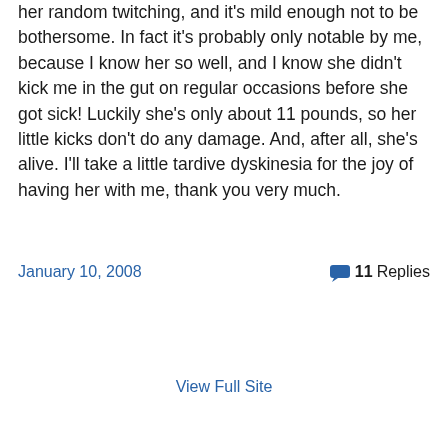her random twitching, and it's mild enough not to be bothersome. In fact it's probably only notable by me, because I know her so well, and I know she didn't kick me in the gut on regular occasions before she got sick! Luckily she's only about 11 pounds, so her little kicks don't do any damage. And, after all, she's alive. I'll take a little tardive dyskinesia for the joy of having her with me, thank you very much.
January 10, 2008
💬 11 Replies
View Full Site